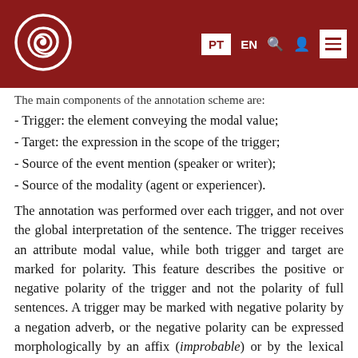PT EN [search] [user] [menu]
The main components of the annotation scheme are:
- Trigger: the element conveying the modal value;
- Target: the expression in the scope of the trigger;
- Source of the event mention (speaker or writer);
- Source of the modality (agent or experiencer).
The annotation was performed over each trigger, and not over the global interpretation of the sentence. The trigger receives an attribute modal value, while both trigger and target are marked for polarity. This feature describes the positive or negative polarity of the trigger and not the polarity of full sentences. A trigger may be marked with negative polarity by a negation adverb, or the negative polarity can be expressed morphologically by an affix (improbable) or by the lexical verbal form itself (proibir 'to forbid').
Modal verbs may have more than one meaning and it is